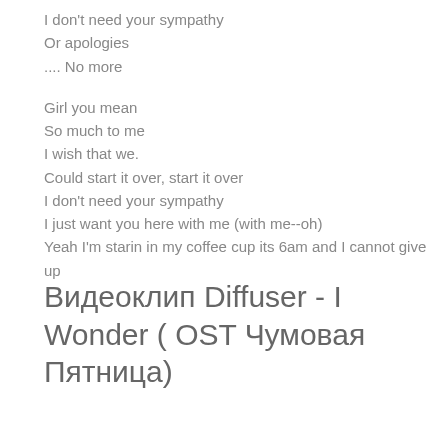I don't need your sympathy
Or apologies
.... No more

Girl you mean
So much to me
I wish that we.
Could start it over, start it over
I don't need your sympathy
I just want you here with me (with me--oh)
Yeah I'm starin in my coffee cup its 6am and I cannot give up
Видеоклип Diffuser - I Wonder ( OST Чумовая Пятница)